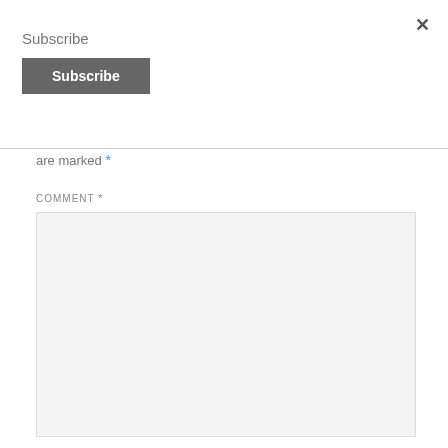×
Subscribe
[Figure (screenshot): Subscribe button — dark gray rounded rectangle with white bold text 'Subscribe']
are marked *
COMMENT *
[Figure (screenshot): Empty comment text area with light gray background]